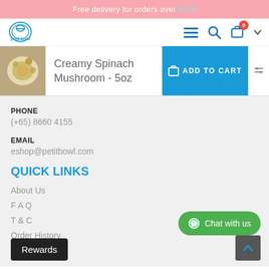Free delivery for orders over $175
[Figure (logo): Petit Bowl logo — circular chef icon in teal/blue]
Creamy Spinach Mushroom - 5oz
ADD TO CART
PHONE
(+65) 8660 4155
EMAIL
eshop@petitbowl.com
QUICK LINKS
About Us
FAQ
T & C
Order History
Chat with us
Rewards